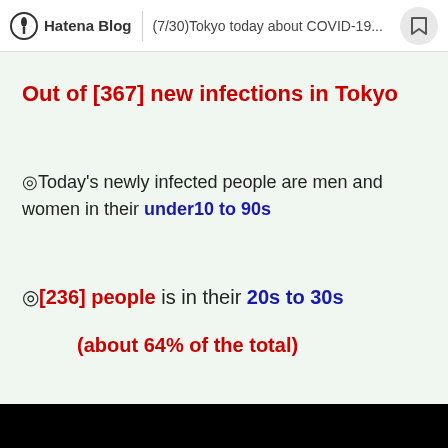Hatena Blog | (7/30)Tokyo today about COVID-19...
Out of [367] new infections in Tokyo
◎Today's newly infected people are men and women in their under10 to 90s
◎[236] people is in their 20s to 30s
(about 64% of the total)